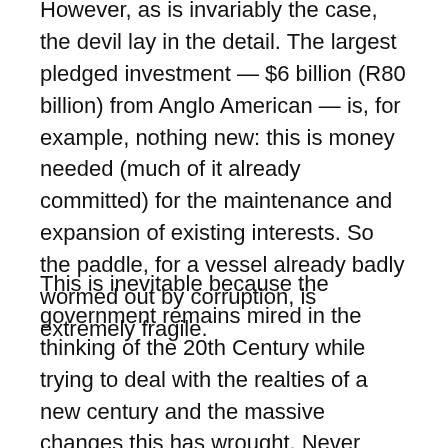However, as is invariably the case, the devil lay in the detail. The largest pledged investment — $6 billion (R80 billion) from Anglo American — is, for example, nothing new: this is money needed (much of it already committed) for the maintenance and expansion of existing interests. So the paddle, for a vessel already badly wormed out by corruption, is extremely fragile.
This is inevitable because the government remains mired in the thinking of the 20th Century while trying to deal with the realties of a new century and the massive changes this has wrought. Never mind the Guptas and others staging tender and other raids on the public purse: they are mere smash and grab operatives. Much more insidious is the fact that the government was long ago captured ideologically by what has variously been dubbed the Washington consensus or neo-liberalism, a system that